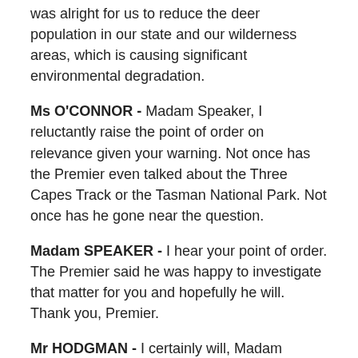was alright for us to reduce the deer population in our state and our wilderness areas, which is causing significant environmental degradation.
Ms O'CONNOR - Madam Speaker, I reluctantly raise the point of order on relevance given your warning. Not once has the Premier even talked about the Three Capes Track or the Tasman National Park. Not once has he gone near the question.
Madam SPEAKER - I hear your point of order. The Premier said he was happy to investigate that matter for you and hopefully he will. Thank you, Premier.
Mr HODGMAN - I certainly will, Madam Speaker. Greens hypocrisy is at play. There is also the need to properly investigate any matters raised by members opposite in this place, which we will do.
If anyone wonders about the level of commitment made